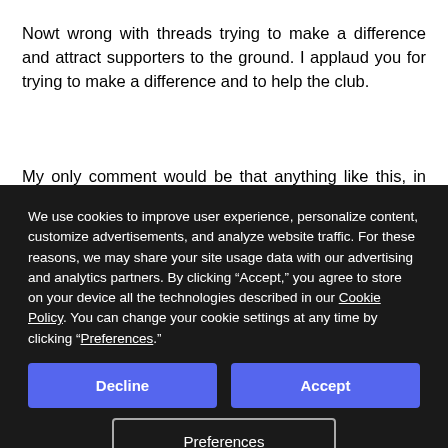Nowt wrong with threads trying to make a difference and attract supporters to the ground. I applaud you for trying to make a difference and to help the club.
My only comment would be that anything like this, in my opinion,
We use cookies to improve user experience, personalize content, customize advertisements, and analyze website traffic. For these reasons, we may share your site usage data with our advertising and analytics partners. By clicking “Accept,” you agree to store on your device all the technologies described in our Cookie Policy. You can change your cookie settings at any time by clicking “Preferences.”